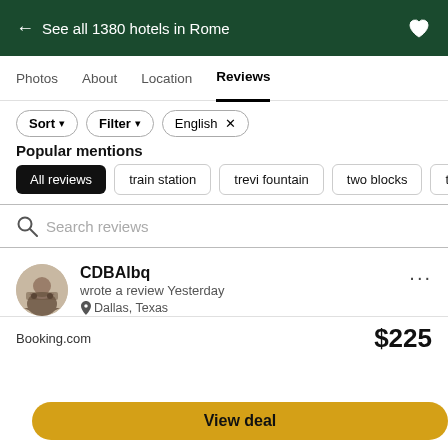← See all 1380 hotels in Rome
Photos  About  Location  Reviews
Sort  Filter  English ×
Popular mentions
All reviews  train station  trevi fountain  two blocks  the air c
Search reviews
CDBAlbq
wrote a review Yesterday
Dallas, Texas
80 contributions • 13 helpful votes
Booking.com  $225
View deal